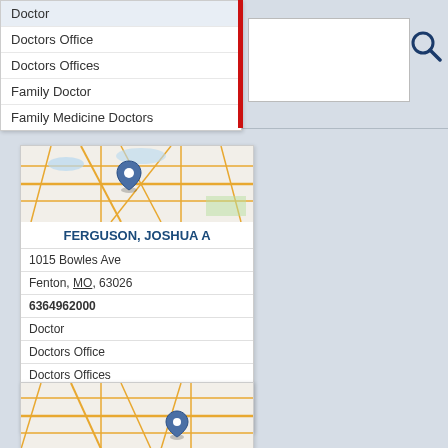[Figure (screenshot): Search bar dropdown with autocomplete suggestions: Doctor, Doctors Office, Doctors Offices, Family Doctor, Family Medicine Doctors. Red vertical bar divider. White search input box and dark blue search icon.]
[Figure (map): Map thumbnail showing street map with a blue location pin marker, for Ferguson Joshua A listing.]
FERGUSON, JOSHUA A
1015 Bowles Ave
Fenton, MO, 63026
6364962000
Doctor
Doctors Office
Doctors Offices
Family Doctor
Family Doctors
[Figure (map): Partial map thumbnail at bottom showing street map with a blue location pin marker.]